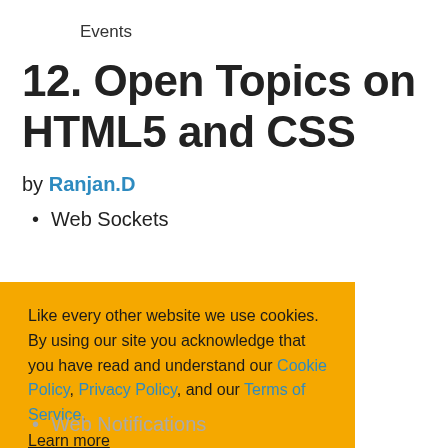Events
12. Open Topics on HTML5 and CSS
by Ranjan.D
Web Sockets
Like every other website we use cookies. By using our site you acknowledge that you have read and understand our Cookie Policy, Privacy Policy, and our Terms of Service. Learn more
Ask me later   Decline   Allow cookies
Web Notifications